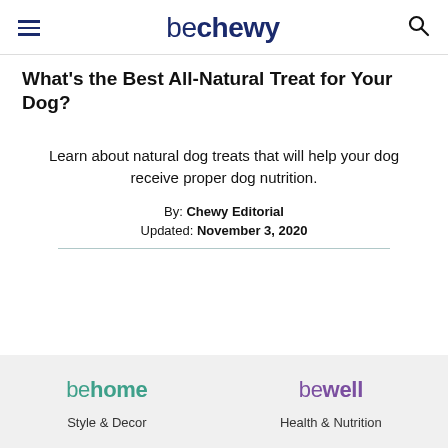be chewy
What's the Best All-Natural Treat for Your Dog?
Learn about natural dog treats that will help your dog receive proper dog nutrition.
By: Chewy Editorial
Updated: November 3, 2020
behome | Style & Decor    bewell | Health & Nutrition